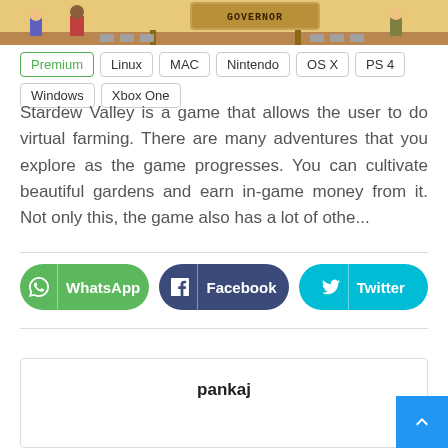[Figure (screenshot): Stardew Valley game screenshot showing pixel art characters and a Governor sign]
Premium  Linux  MAC  Nintendo  OS X  PS 4  Windows  Xbox One
Stardew Valley is a game that allows the user to do virtual farming. There are many adventures that you explore as the game progresses. You can cultivate beautiful gardens and earn in-game money from it. Not only this, the game also has a lot of othe...
[Figure (infographic): Share buttons row: WhatsApp (green), Facebook (dark blue), Twitter (cyan)]
pankaj